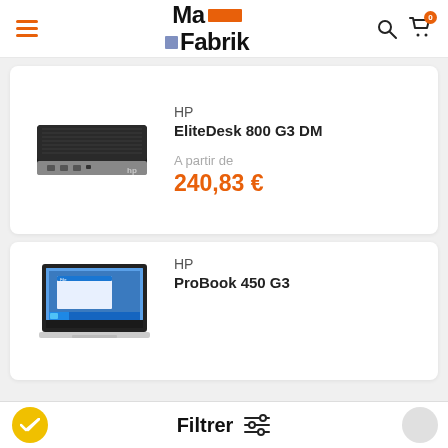Ma Fabrik
[Figure (screenshot): HP EliteDesk 800 G3 DM mini desktop computer product image]
HP
EliteDesk 800 G3 DM
A partir de
240,83 €
[Figure (screenshot): HP ProBook 450 G3 laptop product image]
HP
ProBook 450 G3
Filtrer